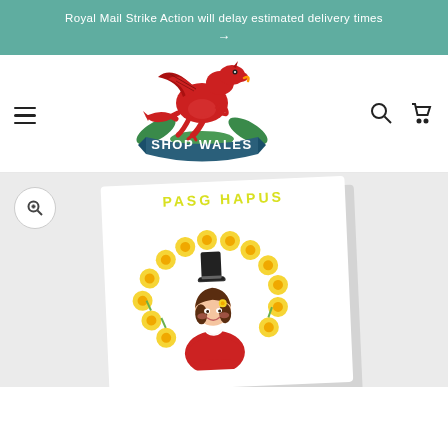Royal Mail Strike Action will delay estimated delivery times →
[Figure (logo): Shop Wales logo featuring a red Welsh dragon above a dark teal banner reading SHOP WALES, with green foliage elements]
[Figure (photo): Welsh Easter card showing 'PASG HAPUS' text in yellow, with a Welsh lady in traditional costume (tall black hat, red outfit) surrounded by a wreath of yellow daffodils]